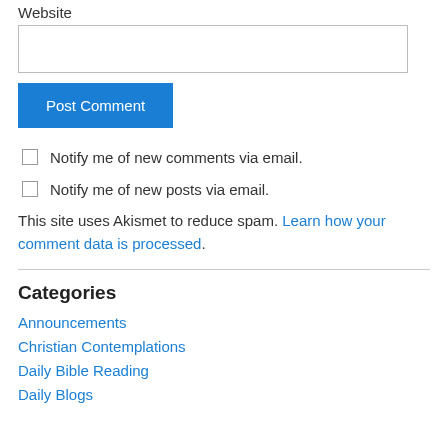Website
[text input box]
Post Comment
Notify me of new comments via email.
Notify me of new posts via email.
This site uses Akismet to reduce spam. Learn how your comment data is processed.
Categories
Announcements
Christian Contemplations
Daily Bible Reading
Daily Blogs